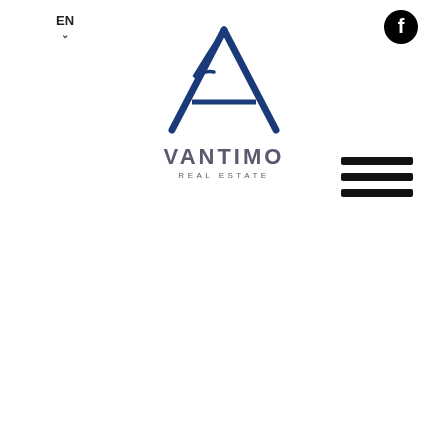EN
[Figure (logo): Vantimo Real Estate logo with stylized blue letter A and company name]
[Figure (other): Facebook social media icon (circle with f)]
[Figure (other): Hamburger menu icon with three horizontal lines]